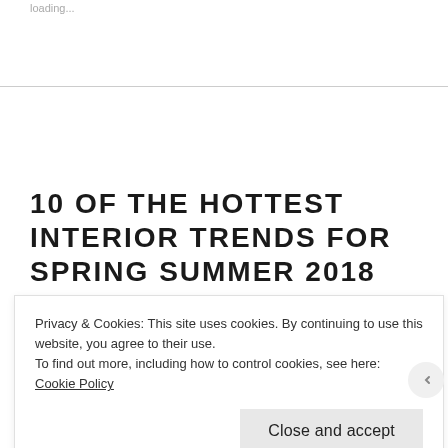loading...
10 OF THE HOTTEST INTERIOR TRENDS FOR SPRING SUMMER 2018
July 10, 2018 · Leave a comment
Privacy & Cookies: This site uses cookies. By continuing to use this website, you agree to their use.
To find out more, including how to control cookies, see here: Cookie Policy
Close and accept